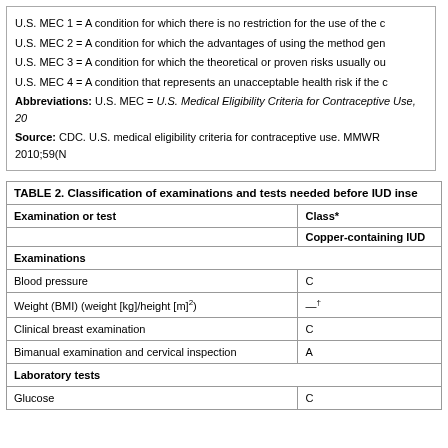U.S. MEC 1 = A condition for which there is no restriction for the use of the c...
U.S. MEC 2 = A condition for which the advantages of using the method gen...
U.S. MEC 3 = A condition for which the theoretical or proven risks usually ou...
U.S. MEC 4 = A condition that represents an unacceptable health risk if the c...
Abbreviations: U.S. MEC = U.S. Medical Eligibility Criteria for Contraceptive Use, 20...
Source: CDC. U.S. medical eligibility criteria for contraceptive use. MMWR 2010;59(N...
TABLE 2. Classification of examinations and tests needed before IUD inse...
| Examination or test | Class* | Copper-containing IUD |
| --- | --- | --- |
| Examinations |  |  |
| Blood pressure | C |  |
| Weight (BMI) (weight [kg]/height [m]²) | —† |  |
| Clinical breast examination | C |  |
| Bimanual examination and cervical inspection | A |  |
| Laboratory tests |  |  |
| Glucose | C |  |